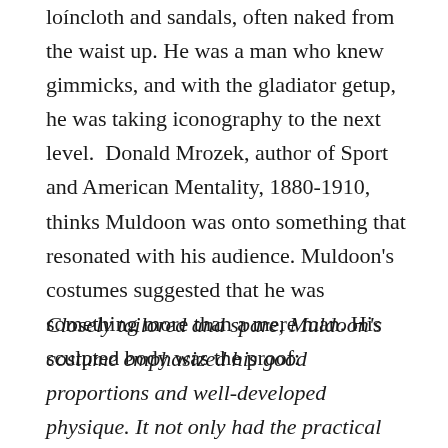loíncloth and sandals, often naked from the waist up. He was a man who knew gimmicks, and with the gladiator getup, he was taking iconography to the next level.  Donald Mrozek, author of Sport and American Mentality, 1880-1910, thinks Muldoon was onto something that resonated with his audience. Muldoon's costumes suggested that he was something more than a mere man. His sculpted body was the proof:
Closely tailored and spare, Muldoon's costume emphasized his good proportions and well-developed physique. It not only had the practical